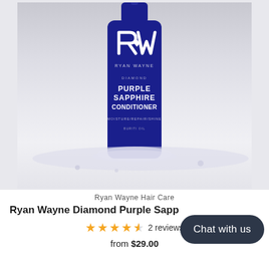[Figure (photo): A dark blue bottle of Ryan Wayne Diamond Purple Sapphire Conditioner (MOISTURE/REPAIR/SHINE, BURITI OIL) with the RW logo, surrounded by white foam and water droplets on a light gray/white background.]
Ryan Wayne Hair Care
Ryan Wayne Diamond Purple Sapp...
★★★★✭ 2 reviews
from $29.00
Chat with us